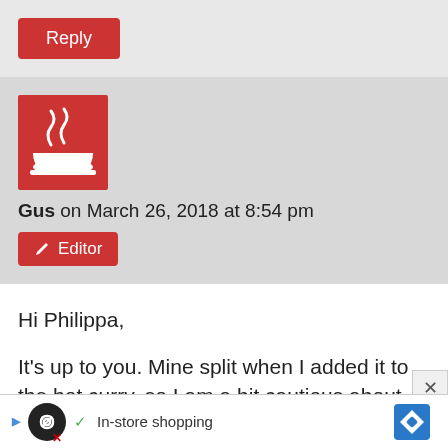[Figure (other): Red Reply button on light grey background]
[Figure (illustration): Red square avatar with white soup bowl and steam icon]
Gus on March 26, 2018 at 8:54 pm
[Figure (other): Red Editor badge with pencil icon]
Hi Philippa,
It's up to you. Mine split when I added it to the hot curry, so I am a bit cautious about adding it as a step. If you're worried it will split, then it's still great with dolloped on top. Warming the
[Figure (other): Advertisement bar: In-store shopping with loop icon and diamond navigation icon]